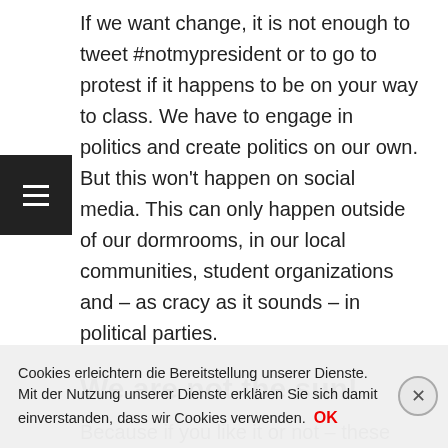If we want change, it is not enough to tweet #notmypresident or to go to protest if it happens to be on your way to class. We have to engage in politics and create politics on our own. But this won't happen on social media. This can only happen outside of our dormrooms, in our local communities, student organizations and – as cracy as it sounds – in political parties.
We are not the sun!
Because if you like it or not – these parties are still the most important organizations when it comes to politics. And that is unlikely to change. Which is not a concern because it is easier to penetrate a party that you have already joined, and a party more than 100 years. But how
Cookies erleichtern die Bereitstellung unserer Dienste. Mit der Nutzung unserer Dienste erklären Sie sich damit einverstanden, dass wir Cookies verwenden.